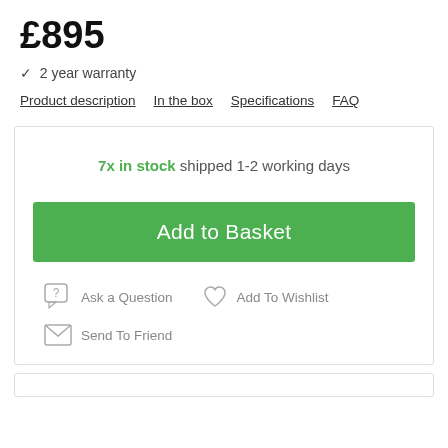£895
✓  2 year warranty
Product description  In the box  Specifications  FAQ
7x in stock shipped 1-2 working days
Add to Basket
Ask a Question   Add To Wishlist
Send To Friend